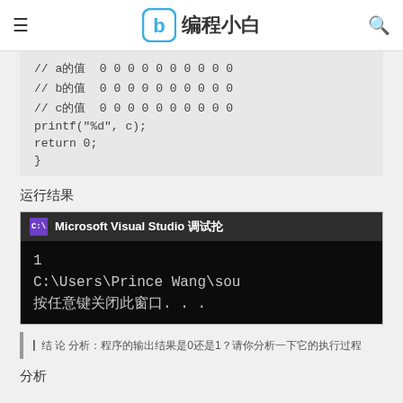编程小白
// a的值  0 0 0 0 0 0 0 0 0 0
// b的值  0 0 0 0 0 0 0 0 0 0
// c的值  0 0 0 0 0 0 0 0 0 0
printf("%d", c);
return 0;
}
运行结果
[Figure (screenshot): Microsoft Visual Studio 调试控制台 screenshot showing output: 1, C:\Users\Prince Wang\sou, 按任意键关闭此窗口. . .]
结 论 分析：程序的输出结果是0还是1？请你分析一下它的执行过程
分析